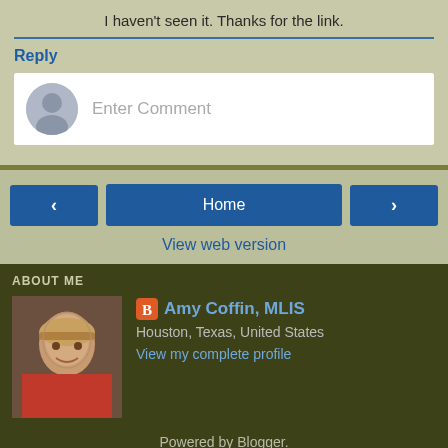I haven't seen it. Thanks for the link.
Reply
[Figure (screenshot): Comment input box with avatar placeholder and 'Enter Comment' placeholder text]
[Figure (screenshot): Navigation buttons: left arrow, Home, right arrow, and View web version link]
ABOUT ME
[Figure (photo): Profile photo of Amy Coffin, a woman with blonde hair wearing a red jacket]
Amy Coffin, MLIS
Houston, Texas, United States
View my complete profile
Powered by Blogger.